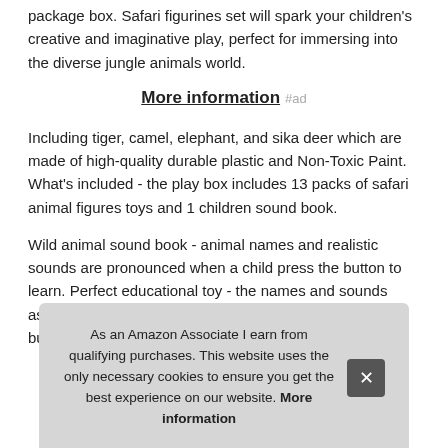package box. Safari figurines set will spark your children's creative and imaginative play, perfect for immersing into the diverse jungle animals world.
More information #ad
Including tiger, camel, elephant, and sika deer which are made of high-quality durable plastic and Non-Toxic Paint. What's included - the play box includes 13 packs of safari animal figures toys and 1 children sound book.
Wild animal sound book - animal names and realistic sounds are pronounced when a child press the button to learn. Perfect educational toy - the names and sounds associated with the boo wild hea the replaceable button battery is already installed in the book,
As an Amazon Associate I earn from qualifying purchases. This website uses the only necessary cookies to ensure you get the best experience on our website. More information